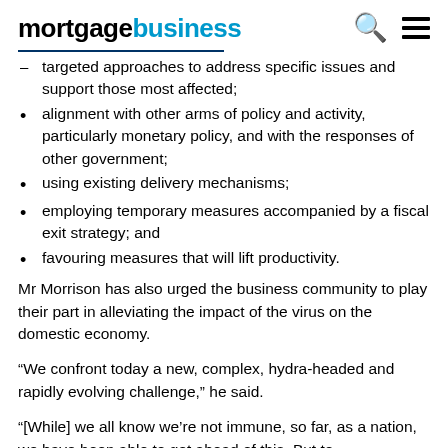mortgagebusiness
targeted approaches to address specific issues and support those most affected;
alignment with other arms of policy and activity, particularly monetary policy, and with the responses of other government;
using existing delivery mechanisms;
employing temporary measures accompanied by a fiscal exit strategy; and
favouring measures that will lift productivity.
Mr Morrison has also urged the business community to play their part in alleviating the impact of the virus on the domestic economy.
“We confront today a new, complex, hydra-headed and rapidly evolving challenge,” he said.
“[While] we all know we’re not immune, so far, as a nation, we have been able to get ahead of this. But to